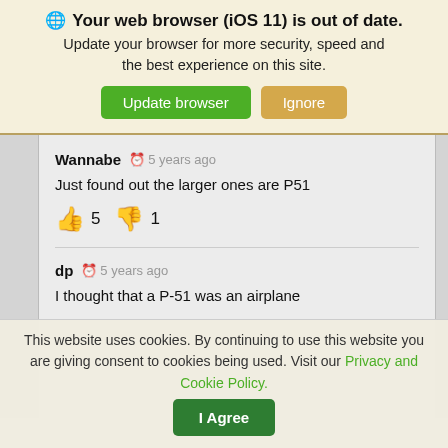🌐 Your web browser (iOS 11) is out of date. Update your browser for more security, speed and the best experience on this site. [Update browser] [Ignore]
Wannabe  5 years ago
Just found out the larger ones are P51
👍 5  👎 1
dp  5 years ago
I thought that a P-51 was an airplane
This website uses cookies. By continuing to use this website you are giving consent to cookies being used. Visit our Privacy and Cookie Policy. [I Agree]